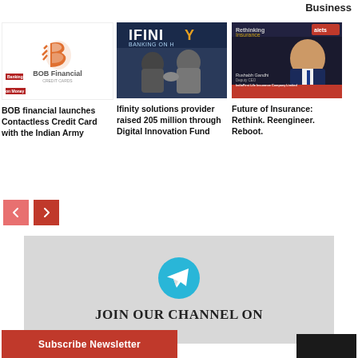Business
[Figure (photo): BOB Financial logo with orange stylized B icon and text 'BOB Financial' below, on white background with small red tag logo]
[Figure (photo): Two men shaking hands in front of IFINITY 'Banking on Humanity' banner signage]
[Figure (photo): Man in suit on stage with 'Rethinking Insurance' and 'alets' branding, name 'Rushabh Gandhi, Deputy CEO, IndiaFirst Life Insurance Company Limited']
BOB financial launches Contactless Credit Card with the Indian Army
Ifinity solutions provider raised 205 million through Digital Innovation Fund
Future of Insurance: Rethink. Reengineer. Reboot.
[Figure (infographic): Telegram channel join banner with teal paper plane icon and text JOIN OUR CHANNEL ON on grey background]
Subscribe Newsletter